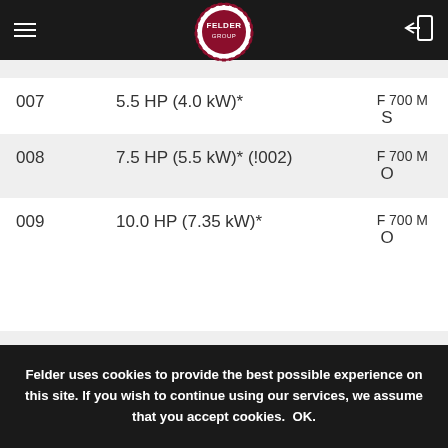Felder Group navigation bar with logo
| Code | Description | Model |
| --- | --- | --- |
| 007 | 5.5 HP (4.0 kW)* | F 700 M S |
| 008 | 7.5 HP (5.5 kW)* (!002) | F 700 M O |
| 009 | 10.0 HP (7.35 kW)* | F 700 M O |
Felder uses cookies to provide the best possible experience on this site. If you wish to continue using our services, we assume that you accept cookies. OK.